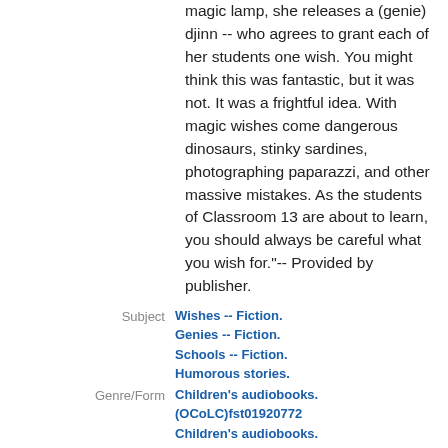magic lamp, she releases a (genie) djinn -- who agrees to grant each of her students one wish. You might think this was fantastic, but it was not. It was a frightful idea. With magic wishes come dangerous dinosaurs, stinky sardines, photographing paparazzi, and other massive mistakes. As the students of Classroom 13 are about to learn, you should always be careful what you wish for."-- Provided by publisher.
| Field | Value |
| --- | --- |
| Subject | Wishes -- Fiction.
Genies -- Fiction.
Schools -- Fiction.
Humorous stories. |
| Genre/Form | Children's audiobooks.
(OCoLC)fst01920772
Children's audiobooks. |
| Added Author | Kelly, Caitlin, narrator.

Playaway Digital Audio.
Findaway World, LLC. |
| Added Title | Magical wishes of |